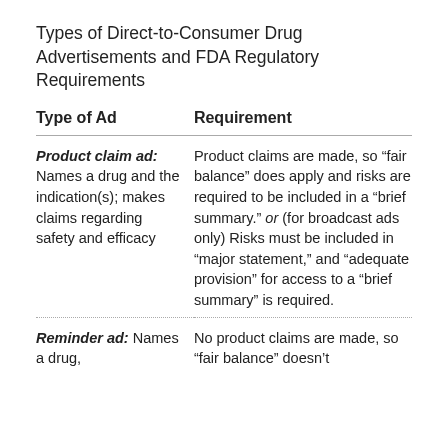Types of Direct-to-Consumer Drug Advertisements and FDA Regulatory Requirements
| Type of Ad | Requirement |
| --- | --- |
| Product claim ad: Names a drug and the indication(s); makes claims regarding safety and efficacy | Product claims are made, so “fair balance” does apply and risks are required to be included in a “brief summary.” or (for broadcast ads only) Risks must be included in “major statement,” and “adequate provision” for access to a “brief summary” is required. |
| Reminder ad: Names a drug, | No product claims are made, so “fair balance” doesn’t |